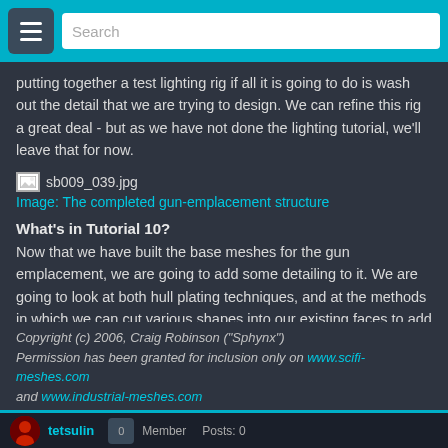Search
putting together a test lighting rig if all it is going to do is wash out the detail that we are trying to design. We can refine this rig a great deal - but as we have not done the lighting tutorial, we'll leave that for now.
[Figure (illustration): Placeholder image icon with filename sb009_039.jpg]
Image: The completed gun-emplacement structure
What's in Tutorial 10?
Now that we have built the base meshes for the gun emplacement, we are going to add some detailing to it. We are going to look at both hull plating techniques, and at the methods in which we can cut various shapes into our existing faces to add windows and doors.
We'll deal with the guns in Tutorial 11.
Copyright (c) 2006, Craig Robinson ("Sphynx") Permission has been granted for inclusion only on www.scifi-meshes.com and www.industrial-meshes.com
tetsulin Member Posts: 0